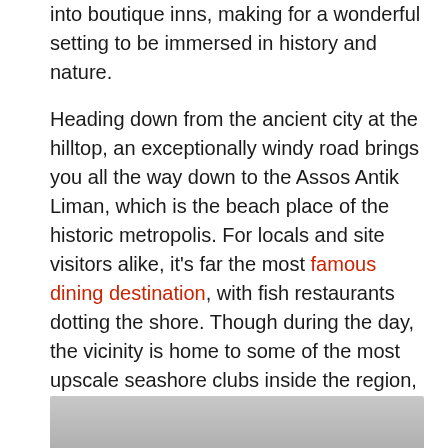into boutique inns, making for a wonderful setting to be immersed in history and nature.
Heading down from the ancient city at the hilltop, an exceptionally windy road brings you all the way down to the Assos Antik Liman, which is the beach place of the historic metropolis. For locals and site visitors alike, it's far the most famous dining destination, with fish restaurants dotting the shore. Though during the day, the vicinity is home to some of the most upscale seashore clubs inside the region, it has a far extra relaxed, low-key sense compared to other similar vacation spots. This is the form of vacation spot that hosts well-known actors and personalities, but as an area, for them to loosen up and pass into hiding instead of being chased down with the aid of paparazzi.
[Figure (photo): Bottom strip of an image, showing a grey/silver gradient surface, partially visible at the bottom of the page.]